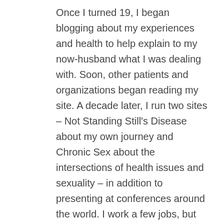Once I turned 19, I began blogging about my experiences and health to help explain to my now-husband what I was dealing with. Soon, other patients and organizations began reading my site. A decade later, I run two sites – Not Standing Still's Disease about my own journey and Chronic Sex about the intersections of health issues and sexuality – in addition to presenting at conferences around the world. I work a few jobs, but they're all things I'm able to do from home because I simply can't do a 'normal' job anymore. Writing helps me cope while helping others feel heard and understood.
Is there anything that helps you rise